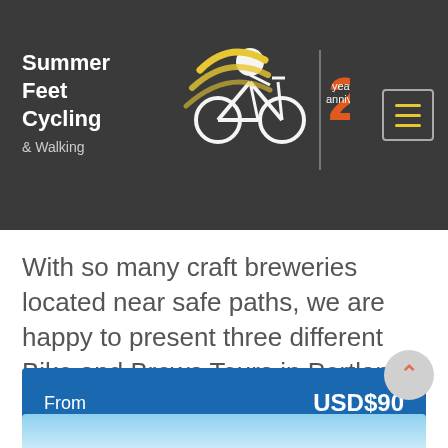Summer Feet Cycling & Walking — 22 year anniversary
With so many craft breweries located near safe paths, we are happy to present three different Bike and Brews Tours in Portland!
From   USD$90